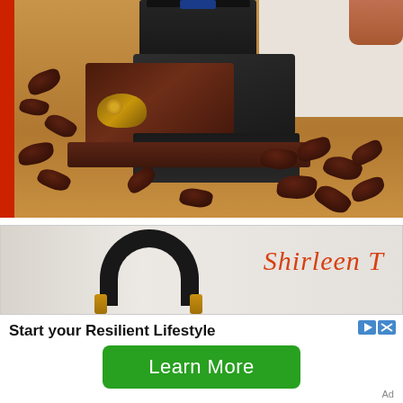[Figure (photo): Photograph of a vintage wooden coffee grinder with brass hardware, surrounded by scattered coffee beans on a wooden surface. A red stripe is visible on the left edge. White wall visible in upper right background.]
[Figure (photo): Advertisement banner showing headphones against a light background with the cursive text 'Shirleen T' in orange on the right side.]
Start your Resilient Lifestyle
[Figure (other): Green 'Learn More' button]
Ad